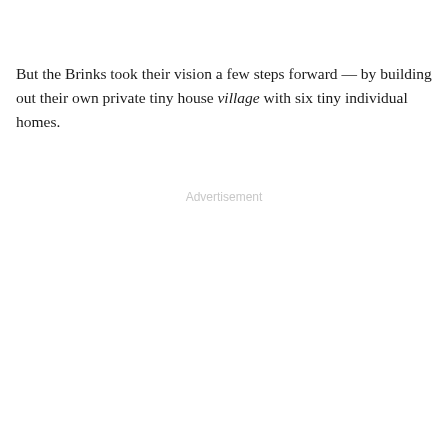But the Brinks took their vision a few steps forward — by building out their own private tiny house village with six tiny individual homes.
Advertisement